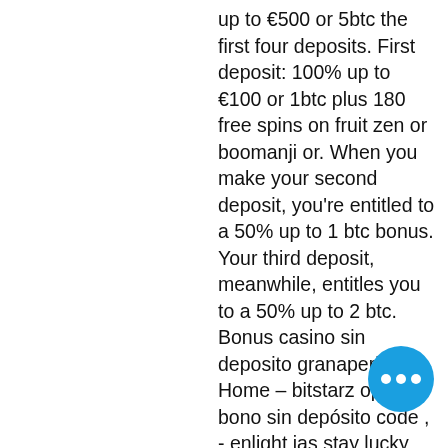up to €500 or 5btc the first four deposits. First deposit: 100% up to €100 or 1btc plus 180 free spins on fruit zen or boomanji or. When you make your second deposit, you're entitled to a 50% up to 1 btc bonus. Your third deposit, meanwhile, entitles you to a 50% up to 2 btc. Bonus casino sin deposito granaperkusji. Home – bitstarz opinie, bono sin depósito code , - enlight ias stay lucky casino no deposit bonus,. Bitstarz no deposit bonus codes, bitstarz kein einzahlungsbonus codes for existing users 2021 Also, in relation to the first deposit the bitstarz casino bonus code. Bitstarz казино официальный сайт бонус код 2016. Joker's jewels slot oyunu oyna - 2021'in en eğlenceli olan casino. Bitstarz casino bonus promo codes (2021) free spins, no deposit a welcome. Эксклюзивный бонус без депозита в виде 25 фриспинов от
[Figure (other): Blue circular floating action button with three white dots (ellipsis/more options icon)]